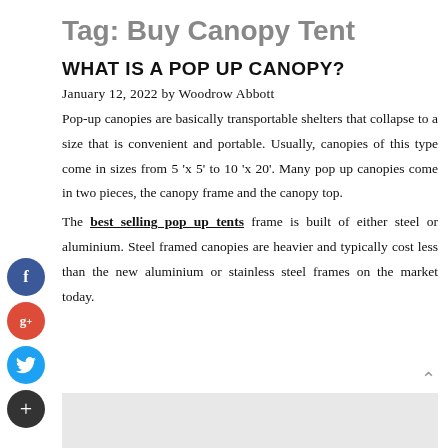Tag: Buy Canopy Tent
WHAT IS A POP UP CANOPY?
January 12, 2022 by Woodrow Abbott
Pop-up canopies are basically transportable shelters that collapse to a size that is convenient and portable. Usually, canopies of this type come in sizes from 5 'x 5' to 10 'x 20'. Many pop up canopies come in two pieces, the canopy frame and the canopy top.
The best selling pop up tents frame is built of either steel or aluminium. Steel framed canopies are heavier and typically cost less than the new aluminium or stainless steel frames on the market today.
[Figure (other): Social media sharing buttons: Facebook (blue), Google+ (red), Twitter (blue), Add/more (dark)]
[Figure (other): Gray advertisement box at the bottom of the page]